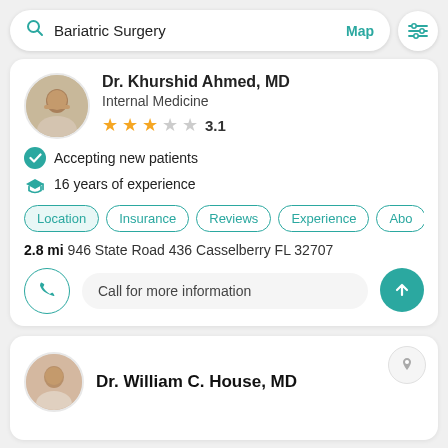[Figure (screenshot): Mobile app search bar showing 'Bariatric Surgery' search with Map link and filter icon]
Dr. Khurshid Ahmed, MD
Internal Medicine
3.1 stars rating
Accepting new patients
16 years of experience
Location  Insurance  Reviews  Experience  Abo
2.8 mi 946 State Road 436 Casselberry FL 32707
Call for more information
Dr. William C. House, MD